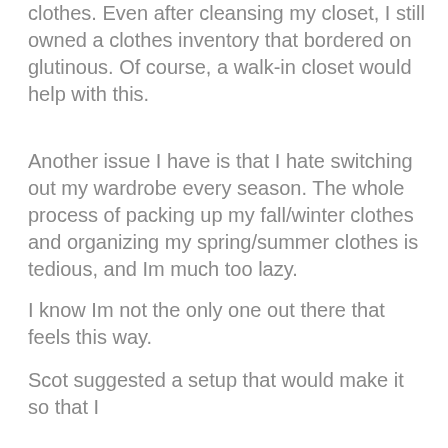clothes. Even after cleansing my closet, I still owned a clothes inventory that bordered on glutinous. Of course, a walk-in closet would help with this.
Another issue I have is that I hate switching out my wardrobe every season. The whole process of packing up my fall/winter clothes and organizing my spring/summer clothes is tedious, and Im much too lazy.
I know Im not the only one out there that feels this way.
Scot suggested a setup that would make it so that I never had to do that again. Can we talk about heroes? Because I think he may be one of mine.
I also had to reassess what I folded and what I hung up. Part of me thought I should go in and just install a bunch of closet rods and hang everything up. It would be easier to see what clothes I had that way.